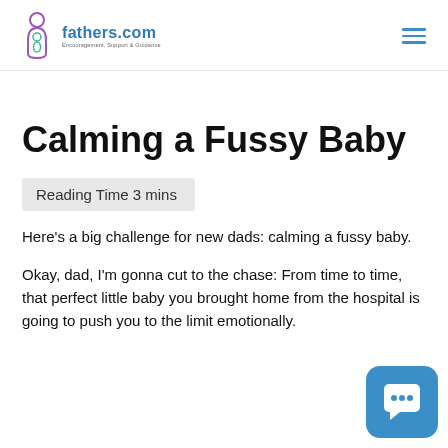fathers.com — Encouragement, Support & Guidance
Calming a Fussy Baby
Reading Time 3 mins
Here's a big challenge for new dads: calming a fussy baby.
Okay, dad, I'm gonna cut to the chase: From time to time, that perfect little baby you brought home from the hospital is going to push you to the limit emotionally.